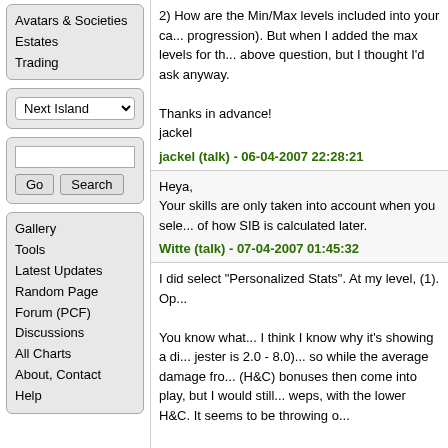Avatars & Societies
Estates
Trading
Next Island (dropdown)
Go / Search (search box)
Gallery
Tools
Latest Updates
Random Page
Forum (PCF)
Discussions
All Charts
About, Contact
Help
2) How are the Min/Max levels included into your ca... progression). But when I added the max levels for th... above question, but I thought I'd ask anyway.

Thanks in advance!
jackel
jackel (talk) - 06-04-2007 22:28:21
Heya,
Your skills are only taken into account when you sele... of how SIB is calculated later.
Witte (talk) - 07-04-2007 01:45:32
I did select "Personalized Stats". At my level, (1). Op...

You know what... I think I know why it's showing a di... jester is 2.0 - 8.0)... so while the average damage fro... (H&C) bonuses then come into play, but I would still... weps, with the lower H&C. It seems to be throwing o...

Thanks for taking the time to discuss this with me.
jackel
jackel (talk) - 07-04-2007 20:01:22
I am not sure what you mean exactly. What is your c... (Both hit and damage, including the bar)
Witte (talk) - 09-04-2007 00:00:22